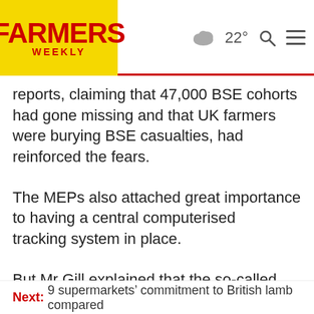FARMERS WEEKLY | 22° [weather icon] [search icon] [menu icon]
reports, claiming that 47,000 BSE cohorts had gone missing and that UK farmers were burying BSE casualties, had reinforced the fears.
The MEPs also attached great importance to having a central computerised tracking system in place.
But Mr Gill explained that the so-called “missing” cohorts were ones which farmers had already disposed of in the over 30 month
Next: 9 supermarkets’ commitment to British lamb compared